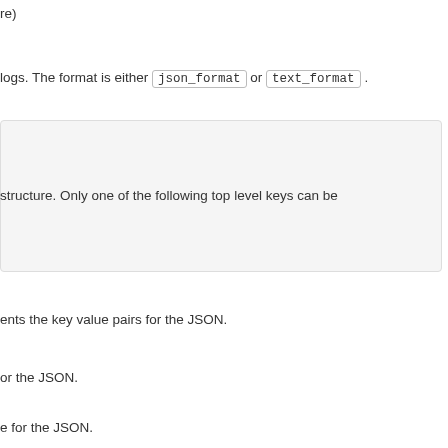re)
logs. The format is either json_format or text_format .
structure. Only one of the following top level keys can be
ents the key value pairs for the JSON.
or the JSON.
e for the JSON.